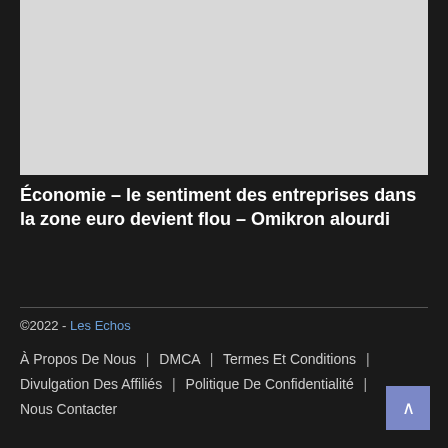[Figure (photo): Gray placeholder image at top of page]
Économie – le sentiment des entreprises dans la zone euro devient flou – Omikron alourdi
©2022 - Les Echos
À Propos De Nous | DMCA | Termes Et Conditions | Divulgation Des Affiliés | Politique De Confidentialité | Nous Contacter